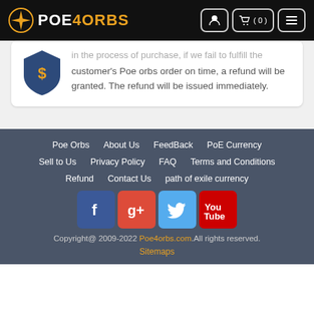POE4ORBS — navigation header with logo, cart (0), and menu
customer's Poe orbs order on time, a refund will be granted. The refund will be issued immediately.
Poe Orbs | About Us | FeedBack | PoE Currency | Sell to Us | Privacy Policy | FAQ | Terms and Conditions | Refund | Contact Us | path of exile currency | Copyright@ 2009-2022 Poe4orbs.com. All rights reserved. Sitemaps